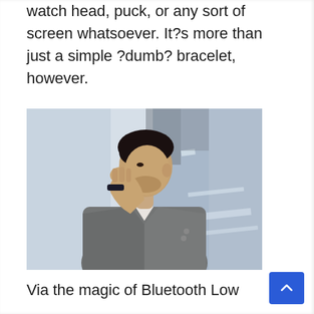watch head, puck, or any sort of screen whatsoever. It?s more than just a simple ?dumb? bracelet, however.
[Figure (photo): A man in a grey suit jacket, viewed from the side, wearing a dark smartwatch/fitness band on his wrist, with his hand raised near his face in a thoughtful pose. The background is blurred urban/architectural environment.]
Via the magic of Bluetooth Low